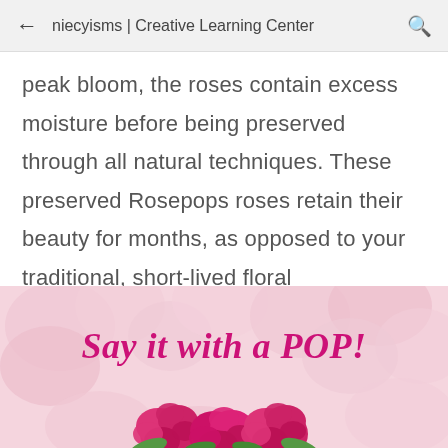niecyisms | Creative Learning Center
peak bloom, the roses contain excess moisture before being preserved through all natural techniques. These preserved Rosepops roses retain their beauty for months, as opposed to your traditional, short-lived floral arrangement. How's that for economical and practical?
[Figure (illustration): Promotional banner image with light pink roses background, hot pink text reading 'Say it with a POP!' and dark pink/magenta roses at bottom center]